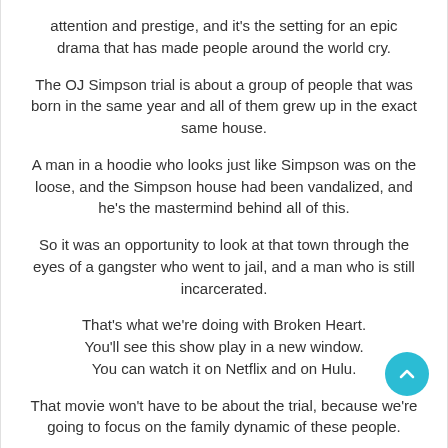attention and prestige, and it's the setting for an epic drama that has made people around the world cry. The OJ Simpson trial is about a group of people that was born in the same year and all of them grew up in the exact same house. A man in a hoodie who looks just like Simpson was on the loose, and the Simpson house had been vandalized, and he's the mastermind behind all of this. So it was an opportunity to look at that town through the eyes of a gangster who went to jail, and a man who is still incarcerated. That's what we're doing with Broken Heart. You'll see this show play in a new window. You can watch it on Netflix and on Hulu. That movie won't have to be about the trial, because we're going to focus on the family dynamic of these people.